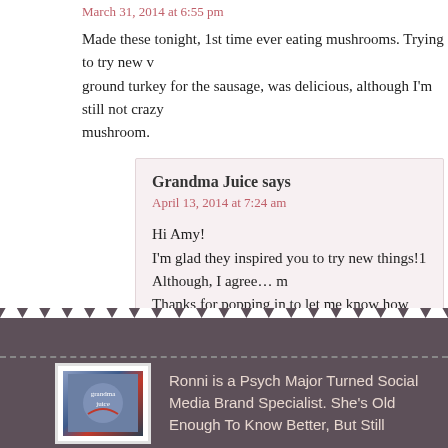March 31, 2014 at 6:55 pm
Made these tonight, 1st time ever eating mushrooms. Trying to try new v… ground turkey for the sausage, was delicious, although I'm still not crazy… mushroom.
Grandma Juice says
April 13, 2014 at 7:24 am
Hi Amy!
I'm glad they inspired you to try new things!1 Although, I agree… m…
Thanks for popping in to let me know how yours turned out!!
[Figure (illustration): Footer logo image for Grandma Juice blog - circular illustration with text]
Ronni is a Psych Major Turned Social Media Brand Specialist. She's Old Enough To Know Better, But Still